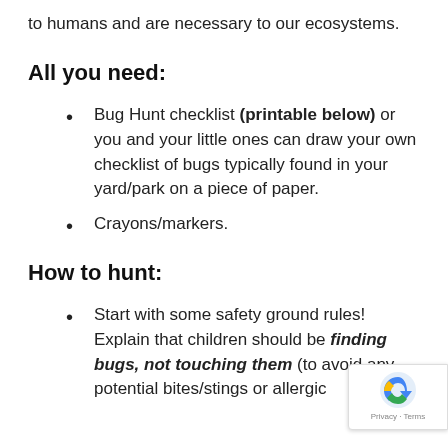to humans and are necessary to our ecosystems.
All you need:
Bug Hunt checklist (printable below) or you and your little ones can draw your own checklist of bugs typically found in your yard/park on a piece of paper.
Crayons/markers.
How to hunt:
Start with some safety ground rules! Explain that children should be finding bugs, not touching them (to avoid any potential bites/stings or allergic